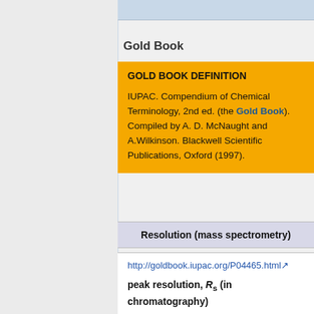Gold Book
GOLD BOOK DEFINITION
IUPAC. Compendium of Chemical Terminology, 2nd ed. (the Gold Book). Compiled by A. D. McNaught and A.Wilkinson. Blackwell Scientific Publications, Oxford (1997).
Resolution (mass spectrometry)
http://goldbook.iupac.org/P04465.html
peak resolution, R_s (in chromatography)
The separation of two peaks in terms of their average peak width at base (t R2 > t R1):